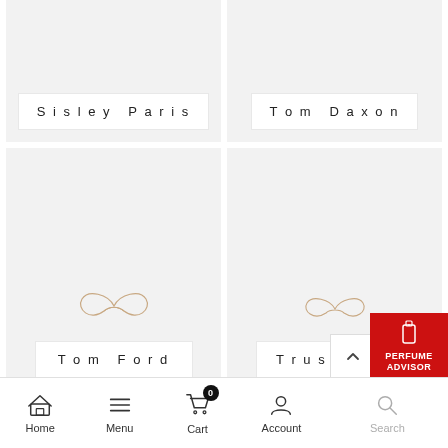[Figure (screenshot): E-commerce brand listing page showing perfume brand cards in a two-column grid. Top partial row shows Sisley Paris and Tom Daxon brand cards (partially cropped). Middle row shows Tom Ford and Trussardi brand cards each with an infinity symbol placeholder. Bottom partial row shows two more brand cards (cropped). Bottom navigation bar with Home, Menu, Cart (0), Account, Search icons. Red Perfume Advisor button at bottom right. Scroll-to-top button.]